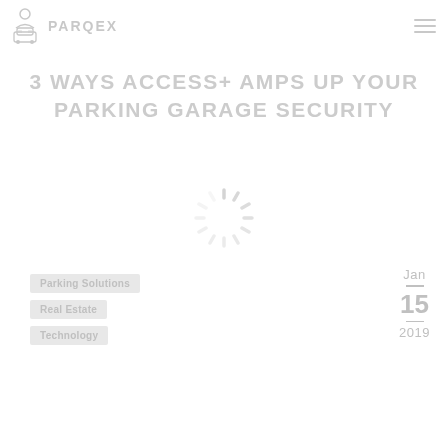PARQEX
3 WAYS ACCESS+ AMPS UP YOUR PARKING GARAGE SECURITY
[Figure (other): Loading spinner graphic (circular spinner with radiating lines in light gray)]
Parking Solutions
Real Estate
Technology
Jan 15 2019